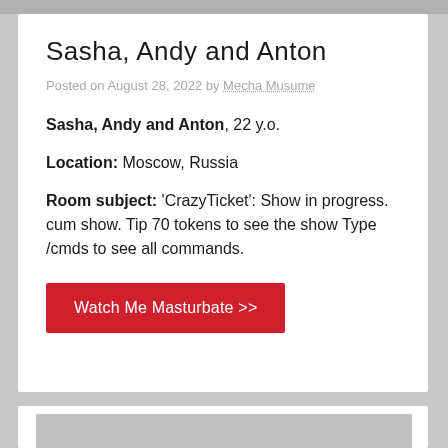Sasha, Andy and Anton
Posted on August 28, 2022 by Mecha Musume
Sasha, Andy and Anton, 22 y.o.
Location: Moscow, Russia
Room subject: 'CrazyTicket': Show in progress. cum show. Tip 70 tokens to see the show Type /cmds to see all commands.
Watch Me Masturbate >>